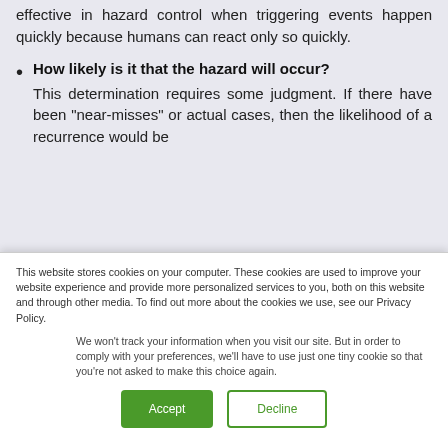effective in hazard control when triggering events happen quickly because humans can react only so quickly.
How likely is it that the hazard will occur? This determination requires some judgment. If there have been "near-misses" or actual cases, then the likelihood of a recurrence would be
This website stores cookies on your computer. These cookies are used to improve your website experience and provide more personalized services to you, both on this website and through other media. To find out more about the cookies we use, see our Privacy Policy.
We won't track your information when you visit our site. But in order to comply with your preferences, we'll have to use just one tiny cookie so that you're not asked to make this choice again.